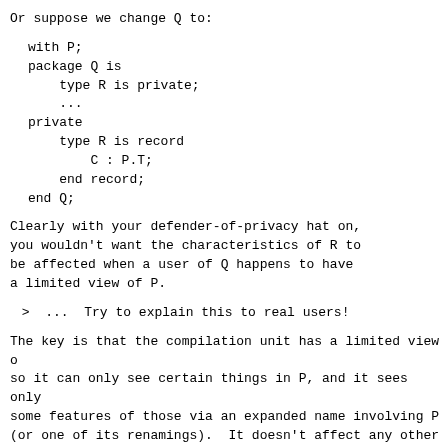Or suppose we change Q to:
with P;
package Q is
    type R is private;
    ...
private
    type R is record
        C : P.T;
    end record;
end Q;
Clearly with your defender-of-privacy hat on,
you wouldn't want the characteristics of R to
be affected when a user of Q happens to have
a limited view of P.
>  ...  Try to explain this to real users!
The key is that the compilation unit has a limited view o
so it can only see certain things in P, and it sees only
some features of those via an expanded name involving P
(or one of its renamings).  It doesn't affect any other
compilation unit, nor any names that don't involve P or
one of its renamings.
> It would seem much more natural to say that they are b
I don't agree, and I really think this way lays big troub
Suppose you instantiate a generic, which instantiates a...